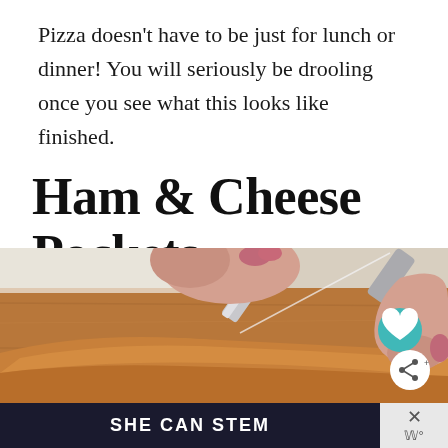Pizza doesn't have to be just for lunch or dinner! You will seriously be drooling once you see what this looks like finished.
Ham & Cheese Pockets
[Figure (photo): Close-up photo of hands using a knife to cut into a golden-brown baked ham and cheese pocket on a wooden cutting board. A teal heart icon and a share icon are visible on the right side of the image.]
SHE CAN STEM